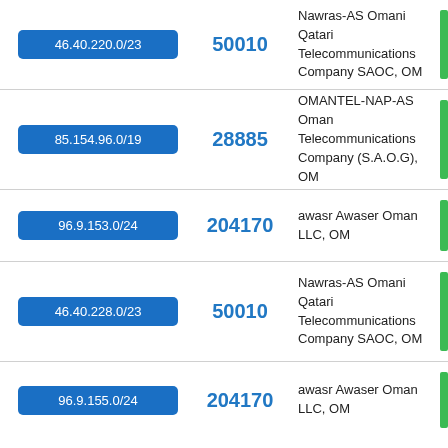| IP Range | ASN | Organization | Status |
| --- | --- | --- | --- |
| 46.40.220.0/23 | 50010 | Nawras-AS Omani Qatari Telecommunications Company SAOC, OM |  |
| 85.154.96.0/19 | 28885 | OMANTEL-NAP-AS Oman Telecommunications Company (S.A.O.G), OM |  |
| 96.9.153.0/24 | 204170 | awasr Awaser Oman LLC, OM |  |
| 46.40.228.0/23 | 50010 | Nawras-AS Omani Qatari Telecommunications Company SAOC, OM |  |
| 96.9.155.0/24 | 204170 | awasr Awaser Oman LLC, OM |  |